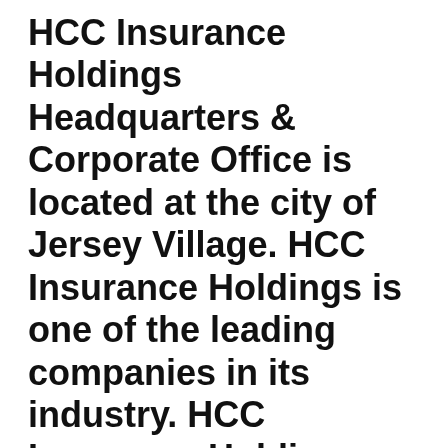HCC Insurance Holdings Headquarters & Corporate Office is located at the city of Jersey Village. HCC Insurance Holdings is one of the leading companies in its industry. HCC Insurance Holdings Headquarters Address is 13403 NW Freeway, Jersey Village,